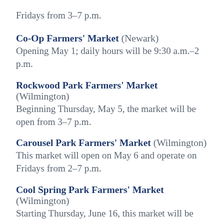Fridays from 3–7 p.m.
Co-Op Farmers' Market (Newark) — Opening May 1; daily hours will be 9:30 a.m.–2 p.m.
Rockwood Park Farmers' Market (Wilmington) — Beginning Thursday, May 5, the market will be open from 3–7 p.m.
Carousel Park Farmers' Market (Wilmington) — This market will open on May 6 and operate on Fridays from 2–7 p.m.
Cool Spring Park Farmers' Market (Wilmington) — Starting Thursday, June 16, this market will be